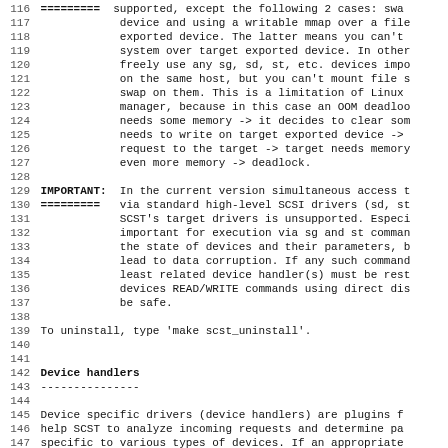116 =========  supported, except the following 2 cases: swa
117             device and using a writable mmap over a file
118             exported device. The latter means you can't
119             system over target exported device. In other
120             freely use any sg, sd, st, etc. devices impo
121             on the same host, but you can't mount file s
122             swap on them. This is a limitation of Linux
123             manager, because in this case an OOM deadloo
124             needs some memory -> it decides to clear som
125             needs to write on target exported device ->
126             request to the target -> target needs memory
127             even more memory -> deadlock.
128
129 IMPORTANT:  In the current version simultaneous access t
130 =========   via standard high-level SCSI drivers (sd, st
131             SCST's target drivers is unsupported. Especi
132             important for execution via sg and st comman
133             the state of devices and their parameters, b
134             lead to data corruption. If any such command
135             least related device handler(s) must be rest
136             devices READ/WRITE commands using direct dis
137             be safe.
138
139 To uninstall, type 'make scst_uninstall'.
140
141
142 Device handlers
143 ---------------
144
145 Device specific drivers (device handlers) are plugins f
146 help SCST to analyze incoming requests and determine pa
147 specific to various types of devices. If an appropriate
Device handlers